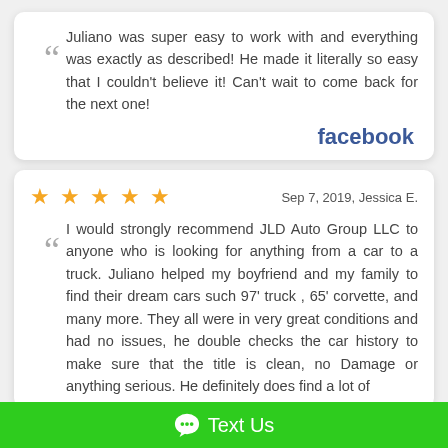Juliano was super easy to work with and everything was exactly as described! He made it literally so easy that I couldn't believe it! Can't wait to come back for the next one!
[Figure (logo): Facebook logo text in blue bold font]
★★★★★   Sep 7, 2019, Jessica E.
I would strongly recommend JLD Auto Group LLC to anyone who is looking for anything from a car to a truck. Juliano helped my boyfriend and my family to find their dream cars such 97' truck , 65' corvette, and many more. They all were in very great conditions and had no issues, he double checks the car history to make sure that the title is clean, no Damage or anything serious. He definitely does find a lot of
Text Us